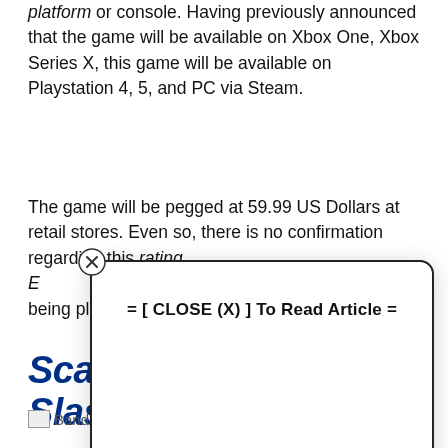platform or console. Having previously announced that the game will be available on Xbox One, Xbox Series X, this game will be available on Playstation 4, 5, and PC via Steam.
The game will be pegged at 59.99 US Dollars at retail stores. Even so, there is no confirmation regarding this rating E[...] he being playable[...]
[Figure (screenshot): Modal popup overlay with close button (X) and text '= [ CLOSE (X) ] To Read Article =']
Scar[...] nd-Slash[...]
[Figure (photo): Broken image placeholder labeled 'Banda']